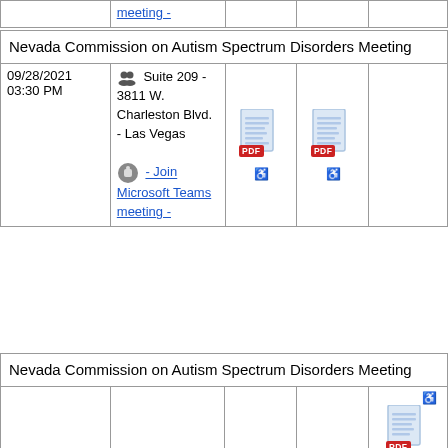| meeting - |  |  |  |  |
| Nevada Commission on Autism Spectrum Disorders Meeting |
| --- |
| 09/28/2021 03:30 PM | 👥 Suite 209 - 3811 W. Charleston Blvd. - Las Vegas
👥 - Join Microsoft Teams meeting - | [PDF icon] | [PDF icon] |  |
| Nevada Commission on Autism Spectrum Disorders Meeting |
| --- |
|  |  |  |  | [PDF icon] |